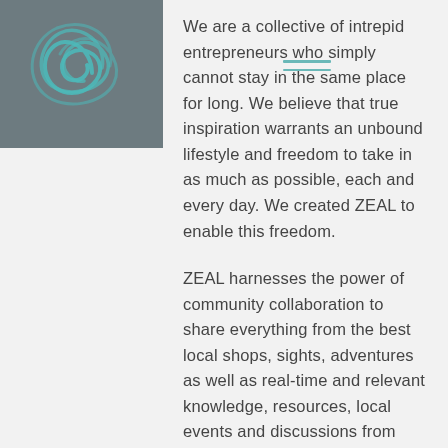[Figure (logo): Teal/aqua swirl logo on dark gray background in top-left corner]
We are a collective of intrepid entrepreneurs who simply cannot stay in the same place for long. We believe that true inspiration warrants an unbound lifestyle and freedom to take in as much as possible, each and every day. We created ZEAL to enable this freedom.
ZEAL harnesses the power of community collaboration to share everything from the best local shops, sights, adventures as well as real-time and relevant knowledge, resources, local events and discussions from global travelers. Add in experience from other Nomads about how to best utilize your time abroad, what tools and software to use, and how to Zoom like a pro so you have more time to experience the local attractions. Together